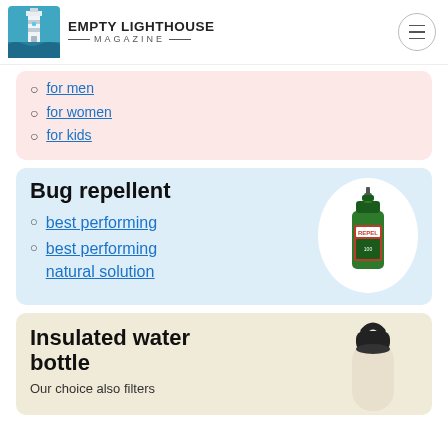EMPTY LIGHTHOUSE MAGAZINE
for men
for women
for kids
Bug repellent
best performing
best performing natural solution
[Figure (photo): Green REPEL bug spray bottle in a white circle]
Insulated water bottle
Our choice also filters
[Figure (photo): Insulated water bottle with black lid, partially visible in beige card]